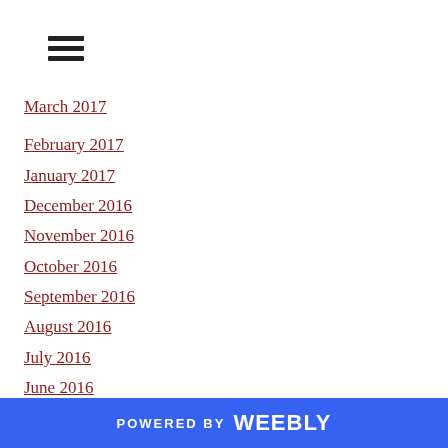[Figure (other): Hamburger menu icon with three horizontal bars]
March 2017
February 2017
January 2017
December 2016
November 2016
October 2016
September 2016
August 2016
July 2016
June 2016
May 2016
April 2016
March 2016
February 2016
January 2016
POWERED BY weebly